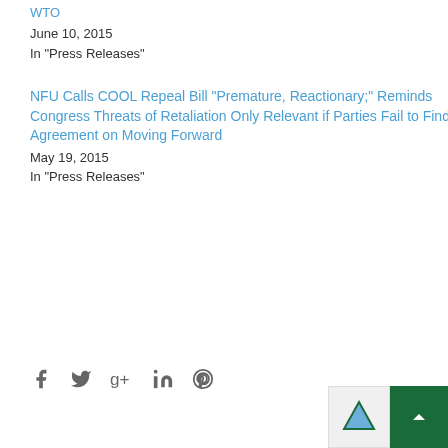WTO
June 10, 2015
In "Press Releases"
NFU Calls COOL Repeal Bill "Premature, Reactionary;" Reminds Congress Threats of Retaliation Only Relevant if Parties Fail to Find Agreement on Moving Forward
May 19, 2015
In "Press Releases"
[Figure (infographic): Social sharing icons: Facebook, Twitter, Google+, LinkedIn, Pinterest]